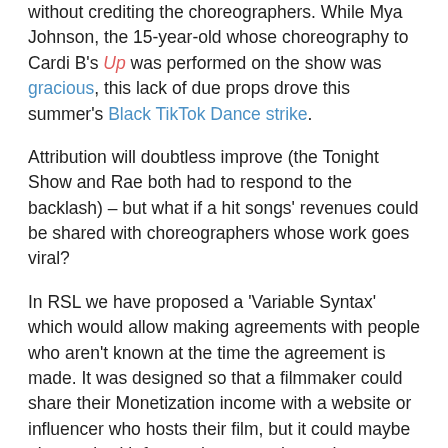without crediting the choreographers. While Mya Johnson, the 15-year-old whose choreography to Cardi B's Up was performed on the show was gracious, this lack of due props drove this summer's Black TikTok Dance strike.
Attribution will doubtless improve (the Tonight Show and Rae both had to respond to the backlash) – but what if a hit songs' revenues could be shared with choreographers whose work goes viral?
In RSL we have proposed a 'Variable Syntax' which would allow making agreements with people who aren't known at the time the agreement is made. It was designed so that a filmmaker could share their Monetization income with a website or influencer who hosts their film, but it could maybe also work with future choreographers whose routines help a song go viral. Given the complexity of making that work accurately and securely, we aren't currebuilding out Variable Syntax during this round of work within MOVA, but it's included in RSL as it seems